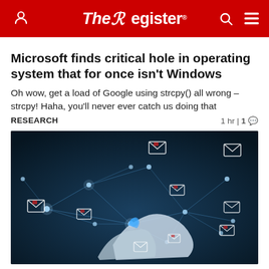The Register
Microsoft finds critical hole in operating system that for once isn't Windows
Oh wow, get a load of Google using strcpy() all wrong – strcpy! Haha, you'll never ever catch us doing that
RESEARCH    1 hr | 1 💬
[Figure (photo): Illustration of robot/AI hands typing on a keyboard with email envelope icons connected by glowing network lines on a dark blue background]
If you haven't patched Zimbra holes by now...